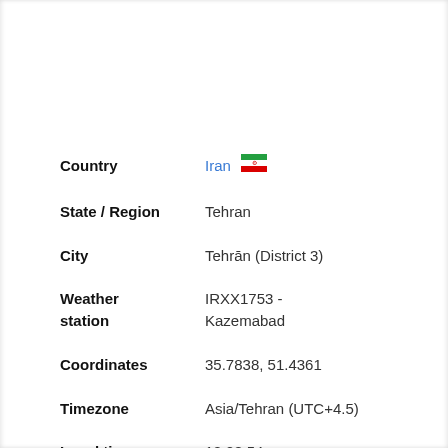| Field | Value |
| --- | --- |
| Country | Iran 🇮🇷 |
| State / Region | Tehran |
| City | Tehrān (District 3) |
| Weather station | IRXX1753 - Kazemabad |
| Coordinates | 35.7838, 51.4361 |
| Timezone | Asia/Tehran (UTC+4.5) |
| Local time | 12:08:54 |